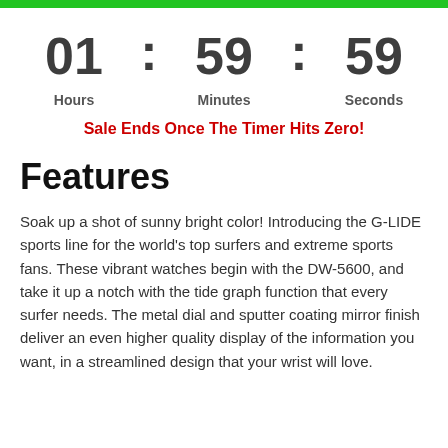[Figure (other): Green horizontal bar at top of page]
01 : 59 : 59
Hours   Minutes   Seconds
Sale Ends Once The Timer Hits Zero!
Features
Soak up a shot of sunny bright color! Introducing the G-LIDE sports line for the world's top surfers and extreme sports fans. These vibrant watches begin with the DW-5600, and take it up a notch with the tide graph function that every surfer needs. The metal dial and sputter coating mirror finish deliver an even higher quality display of the information you want, in a streamlined design that your wrist will love.